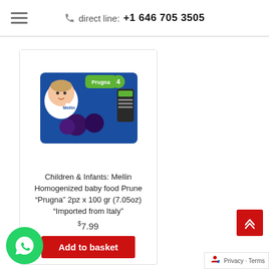direct line: +1 646 705 3505
[Figure (photo): Mellin brand baby food product packaging showing two jars of Prugna (prune) homogenized baby food, with blue box featuring a baby and plums, labeled Prugna 4 months+]
Children & Infants: Mellin Homogenized baby food Prune “Prugna” 2pz x 100 gr (7.05oz) “Imported from Italy”
$7.99
Add to basket